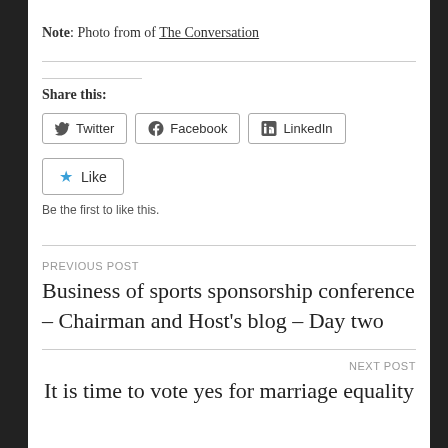Note: Photo from of The Conversation
Share this:
Twitter  Facebook  LinkedIn  Like  Be the first to like this.
PREVIOUS POST
Business of sports sponsorship conference – Chairman and Host's blog – Day two
NEXT POST
It is time to vote yes for marriage equality